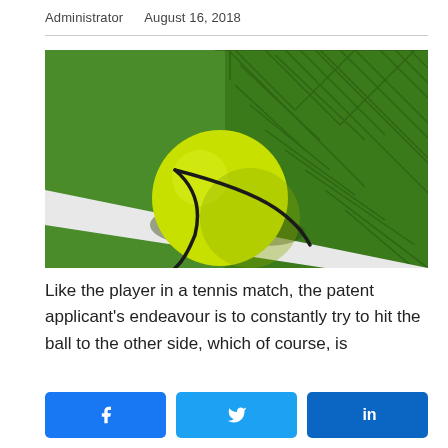Administrator   August 16, 2018
[Figure (photo): A yellow-green tennis ball resting on a white line on a green tennis court, with a net in the background casting geometric shadows.]
Like the player in a tennis match, the patent applicant's endeavour is to constantly try to hit the ball to the other side, which of course, is